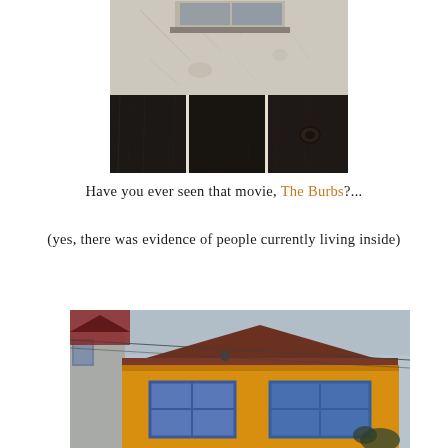[Figure (photo): Collage of photos: top shows cracked white wall with a window/ledge; bottom shows three panels of dark wood grain texture]
Have you ever seen that movie, The Burbs?...
(yes, there was evidence of people currently living inside)
[Figure (photo): Photo of a yellow house with blue-framed windows, brown/dark tile roof, partial view of grey neighboring building on left, overcast sky background]